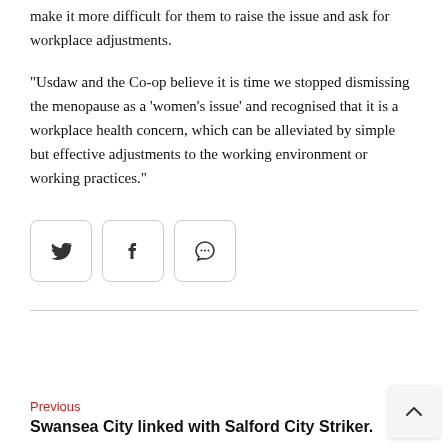make it more difficult for them to raise the issue and ask for workplace adjustments.
“Usdaw and the Co-op believe it is time we stopped dismissing the menopause as a ‘women’s issue’ and recognised that it is a workplace health concern, which can be alleviated by simple but effective adjustments to the working environment or working practices.”
[Figure (infographic): Three social sharing icon buttons: Twitter bird icon, Facebook f icon, and a speech bubble with ellipsis (comment/share) icon]
Previous
Swansea City linked with Salford City Striker.